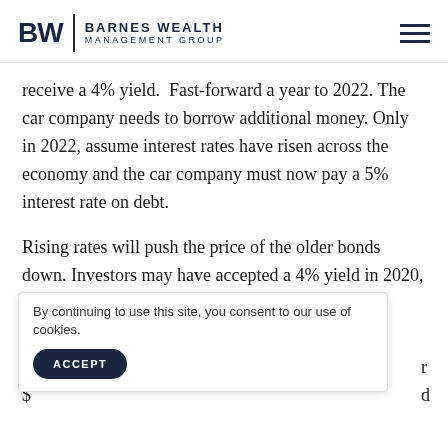BW | Barnes Wealth Management Group
receive a 4% yield.  Fast-forward a year to 2022. The car company needs to borrow additional money. Only in 2022, assume interest rates have risen across the economy and the car company must now pay a 5% interest rate on debt.
Rising rates will push the price of the older bonds down. Investors may have accepted a 4% yield in 2020, but now demand a 5% return. Bond prices will a
By continuing to use this site, you consent to our use of cookies.
ACCEPT
4
$